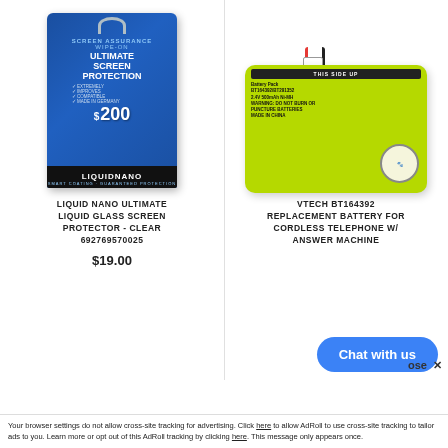[Figure (photo): Product photo of Liquid Nano Ultimate Liquid Glass Screen Protector in blue packaging with $200 guarantee label]
[Figure (photo): Product photo of VTech BT164392 replacement battery for cordless telephone, yellow-green NiMH battery pack]
LIQUID NANO ULTIMATE LIQUID GLASS SCREEN PROTECTOR - CLEAR 692769570025
VTECH BT164392 REPLACEMENT BATTERY FOR CORDLESS TELEPHONE W/ ANSWER MACHINE
$19.00
Chat with us
Your browser settings do not allow cross-site tracking for advertising. Click here to allow AdRoll to use cross-site tracking to tailor ads to you. Learn more or opt out of this AdRoll tracking by clicking here. This message only appears once.